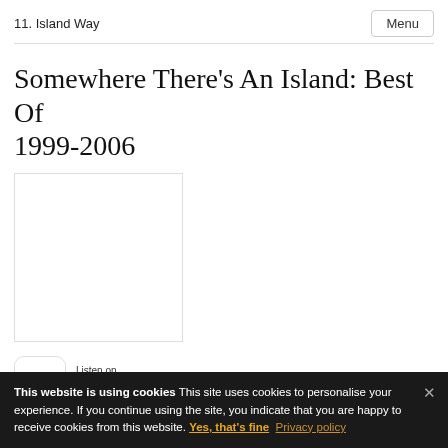11. Island Way
Somewhere There's An Island: Best Of 1999-2006
[Figure (photo): Album artwork placeholder — white rectangle with thin border]
[Figure (logo): Listen on Apple Music button with music note icon]
Released
This website is using cookies This site uses cookies to personalise your experience. If you continue using the site, you indicate that you are happy to receive cookies from this website. Yes, that's fine Privacy policy